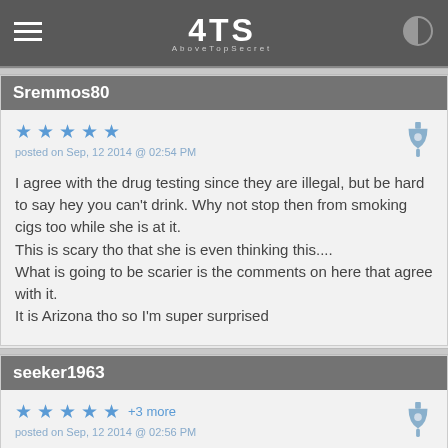ATS AboveTopSecret
Sremmos80
posted on Sep, 12 2014 @ 02:54 PM
I agree with the drug testing since they are illegal, but be hard to say hey you can't drink. Why not stop then from smoking cigs too while she is at it.
This is scary tho that she is even thinking this....
What is going to be scarier is the comments on here that agree with it.
It is Arizona tho so I'm super surprised
seeker1963
+3 more
posted on Sep, 12 2014 @ 02:56 PM
a reply to: Sremmos80